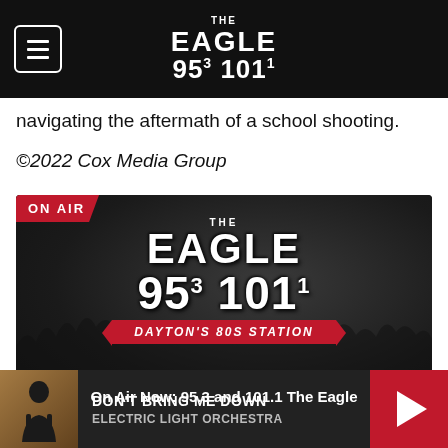THE EAGLE 953 1011
navigating the aftermath of a school shooting.
©2022 Cox Media Group
[Figure (photo): ON AIR banner with The Eagle 95.3 101.1 Dayton's 80s Station logo on dark background with crowd silhouette. Text: On Air Now: 95.3 and 101.1 The Eagle]
[Figure (photo): Music player bar: DON'T BRING ME DOWN by ELECTRIC LIGHT ORCHESTRA with thumbnail and play button]